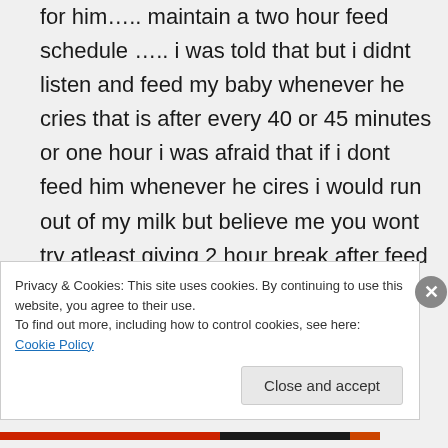for him….. maintain a two hour feed schedule ….. i was told that but i didnt listen and feed my baby whenever he cries that is after every 40 or 45 minutes or one hour i was afraid that if i dont feed him whenever he cires i would run out of my milk but believe me you wont try atleast giving 2 hour break after feed …… feed from both breasts … start with the one you finished last.
Privacy & Cookies: This site uses cookies. By continuing to use this website, you agree to their use.
To find out more, including how to control cookies, see here: Cookie Policy